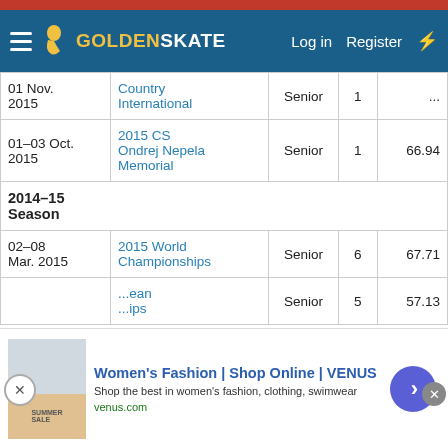GoldenSkate — Log in  Register
| Date | Event | Level | Place | Score |
| --- | --- | --- | --- | --- |
| 01 Nov. 2015 | Country International | Senior | 1 | ... |
| 01–03 Oct. 2015 | 2015 CS Ondrej Nepela Memorial | Senior | 1 | 66.94 |
| 2014–15 Season |  |  |  |  |
| 02–08 Mar. 2015 | 2015 World Championships | Senior | 6 | 67.71 |
|  | ...ean ...ips | Senior | 5 | 57.13 |